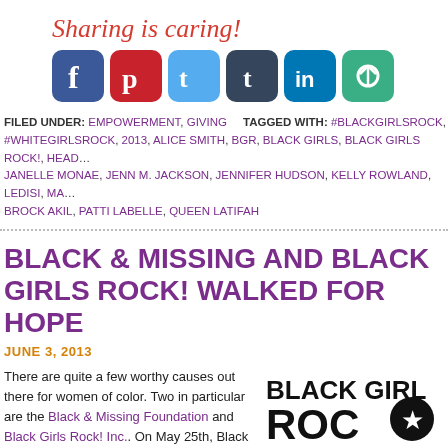Sharing is caring!
[Figure (other): Row of social media sharing icons: Facebook (blue), Pinterest (red), Twitter (light blue), Tumblr (dark blue), LinkedIn (blue), Share (green)]
FILED UNDER: EMPOWERMENT, GIVING   TAGGED WITH: #BLACKGIRLSROCK, #WHITEGIRLSROCK, 2013, ALICE SMITH, BGR, BLACK GIRLS, BLACK GIRLS ROCK!, HEAD... JANELLE MONAE, JENN M. JACKSON, JENNIFER HUDSON, KELLY ROWLAND, LEDISI, MA... BROCK AKIL, PATTI LABELLE, QUEEN LATIFAH
BLACK & MISSING AND BLACK GIRLS ROCK! WALKED FOR HOPE
JUNE 3, 2013
There are quite a few worthy causes out there for women of color. Two in particular are the Black & Missing Foundation and Black Girls Rock! Inc.. On May 25th, Black & Missing sponsored a 5k walk/run called, "Hope Without Boundaries." And, many prominent figures in the black community were there including Michael Baisden, Jacque Reid, our own "Shining" inductee, Michaela Angela Davis, and Beverly Bond. The event, though it saw little widespread press, was meant to give back to
[Figure (logo): Black Girls Rock & Run For Hope logo in black and orange]